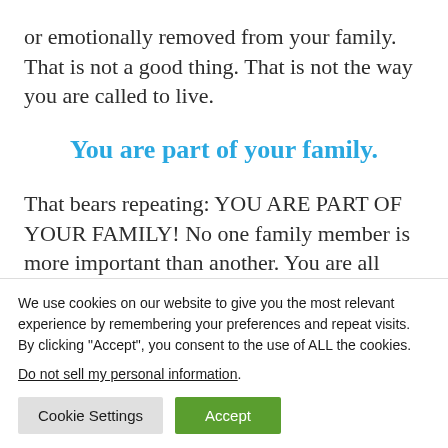or emotionally removed from your family. That is not a good thing. That is not the way you are called to live.
You are part of your family.
That bears repeating: YOU ARE PART OF YOUR FAMILY! No one family member is more important than another. You are all equally
We use cookies on our website to give you the most relevant experience by remembering your preferences and repeat visits. By clicking “Accept”, you consent to the use of ALL the cookies.
Do not sell my personal information.